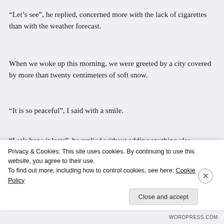“Let’s see”, he replied, concerned more with the lack of cigarettes than with the weather forecast.
When we woke up this morning, we were greeted by a city covered by more than twenty centimeters of soft snow.
“It is so peaceful”, I said with a smile.
“Let’s hope it lasts”, he replied without adding anything else.
Meanwhile, the snow kept falling.
Fat flakes, too heavy to swirl in the wind. Flakes that fall with determination and stay in the exact place where they landed. Purposeful flakes that have no i
Privacy & Cookies: This site uses cookies. By continuing to use this website, you agree to their use.
To find out more, including how to control cookies, see here: Cookie Policy
Close and accept